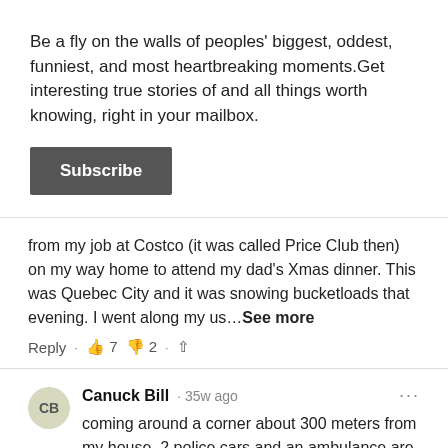Be a fly on the walls of peoples' biggest, oddest, funniest, and most heartbreaking moments.Get interesting true stories of and all things worth knowing, right in your mailbox.
Subscribe
from my job at Costco (it was called Price Club then) on my way home to attend my dad's Xmas dinner. This was Quebec City and it was snowing bucketloads that evening. I went along my us…See more
Reply · 👍 7 👎 2 · Share
Canuck Bill · 35w ago
coming around a corner about 300 meters from my house. 2 police cars and an ambulance are there, and about 50 people. A line of 10 or so cars blocking the road. I drive past the cars, past a police officer waving her hands to stop and see …See more